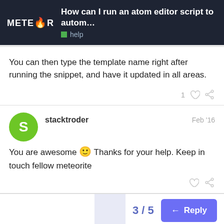How can I run an atom editor script to autom... | help
You can then type the template name right after running the snippet, and have it updated in all areas.
stacktroder  Feb '16
You are awesome 🙂 Thanks for your help. Keep in touch fellow meteorite
3 / 5
Reply
Suggested Topics